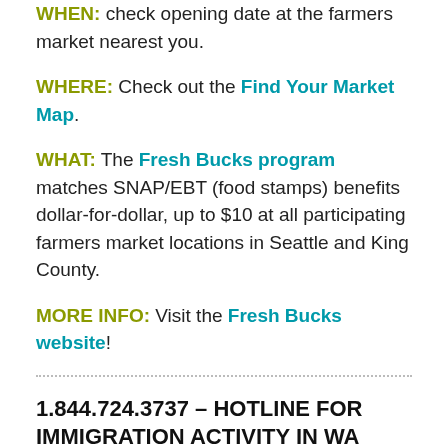WHEN: check opening date at the farmers market nearest you.
WHERE: Check out the Find Your Market Map.
WHAT: The Fresh Bucks program matches SNAP/EBT (food stamps) benefits dollar-for-dollar, up to $10 at all participating farmers market locations in Seattle and King County.
MORE INFO: Visit the Fresh Bucks website!
1.844.724.3737 – HOTLINE FOR IMMIGRATION ACTIVITY IN WA